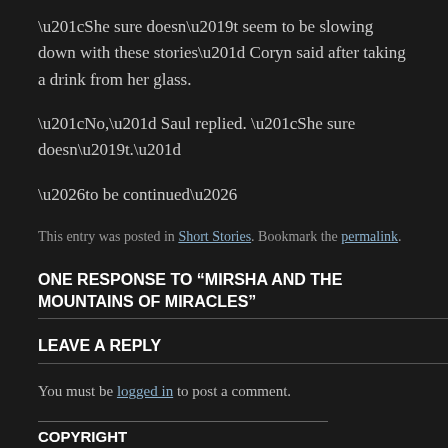“She sure doesn’t seem to be slowing down with these stories” Coryn said after taking a drink from her glass.
“No,” Saul replied. “She sure doesn’t.”
…to be continued…
This entry was posted in Short Stories. Bookmark the permalink.
ONE RESPONSE TO “MIRSHA AND THE MOUNTAINS OF MIRACLES”
LEAVE A REPLY
You must be logged in to post a comment.
COPYRIGHT